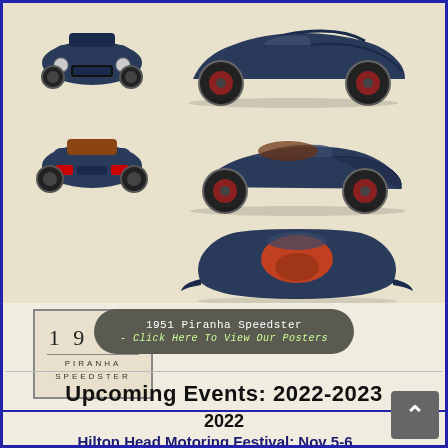[Figure (illustration): Multiple views of the 1951 Piranha Speedster classic car: front view (top-left), rear view (bottom-left), side profile view from right (top-right), three-quarter rear view (middle-right), and top-down aerial view (bottom-right). Car is dark navy blue with red interior and wheels. Also includes a vintage-style text logo box reading '1951 PIRANHA SPEEDSTER'.]
1951 Piranha Speedster - Click Here To View Our Posters
Upcoming Events: 2022-2023
2022
Hilton Head Motoring Festival: Nov 5-6